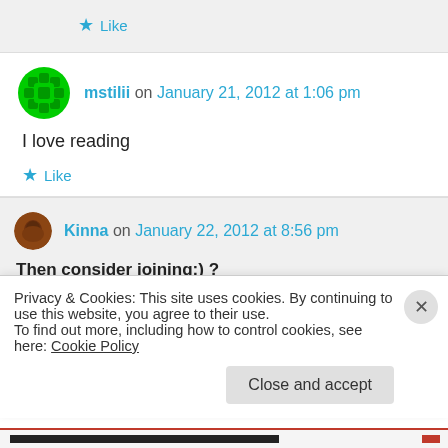★ Like
mstilii on January 21, 2012 at 1:06 pm
I love reading
★ Like
Kinna on January 22, 2012 at 8:56 pm
Then consider joining:) ?
Privacy & Cookies: This site uses cookies. By continuing to use this website, you agree to their use.
To find out more, including how to control cookies, see here: Cookie Policy
Close and accept